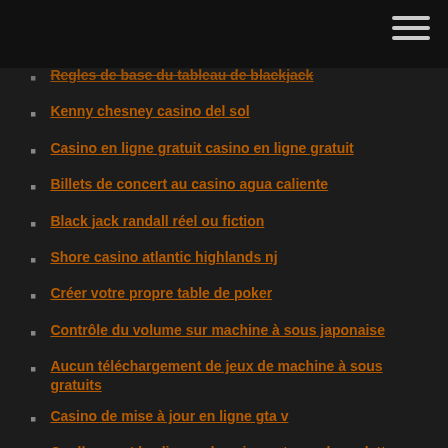Regles de base du tableau de blackjack
Kenny chesney casino del sol
Casino en ligne gratuit casino en ligne gratuit
Billets de concert au casino agua caliente
Black jack randall réel ou fiction
Shore casino atlantic highlands nj
Créer votre propre table de poker
Contrôle du volume sur machine à sous japonaise
Aucun téléchargement de jeux de machine à sous gratuits
Casino de mise à jour en ligne gta v
Quelles sont les lignes de paiement pour la roulette
Casinos indiens du sud de la californie jeu de 18 ans